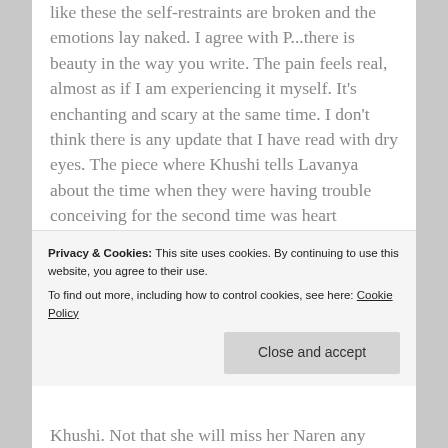like these the self-restraints are broken and the emotions lay naked. I agree with P...there is beauty in the way you write. The pain feels real, almost as if I am experiencing it myself. It's enchanting and scary at the same time. I don't think there is any update that I have read with dry eyes. The piece where Khushi tells Lavanya about the time when they were having trouble conceiving for the second time was heart wrenching. Even the happy moments she reminisced with NK brought tears to my eyes. Yet, I think it's Mira's pain
Khushi. Not that she will miss her Naren any
Privacy & Cookies: This site uses cookies. By continuing to use this website, you agree to their use.
To find out more, including how to control cookies, see here: Cookie Policy